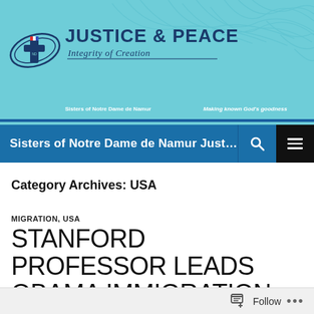[Figure (logo): Sisters of Notre Dame de Namur Justice & Peace, Integrity of Creation header banner with cross logo, teal background with decorative leaf/plant motifs]
Sisters of Notre Dame de Namur Justice, ...
Category Archives: USA
MIGRATION, USA
STANFORD PROFESSOR LEADS OBAMA IMMIGRATION TEAM
Follow ...